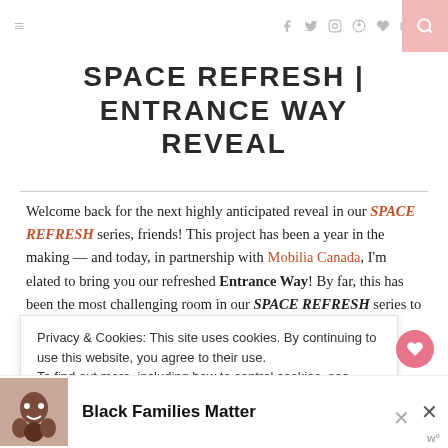≡  [social icons: f t instagram pinterest heart youtube rss]  [search]
SPACE REFRESH | ENTRANCE WAY REVEAL
Welcome back for the next highly anticipated reveal in our SPACE REFRESH series, friends! This project has been a year in the making — and today, in partnership with Mobilia Canada, I'm elated to bring you our refreshed Entrance Way! By far, this has been the most challenging room in our SPACE REFRESH series to date. Although it's responsible for the first
Privacy & Cookies: This site uses cookies. By continuing to use this website, you agree to their use.
To find out more, including how to control cookies, see here: Privacy Policy
[Figure (photo): Ad banner showing smiling Black family with text 'Black Families Matter']